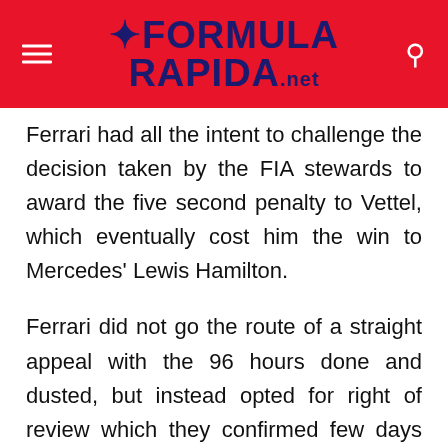Formula Rapida .net
Ferrari had all the intent to challenge the decision taken by the FIA stewards to award the five second penalty to Vettel, which eventually cost him the win to Mercedes' Lewis Hamilton.
Ferrari did not go the route of a straight appeal with the 96 hours done and dusted, but instead opted for right of review which they confirmed few days ahead of the F1 French GP. The FIA also noted about the hearing which took place between FP1 and FP2 at Paul Ricard.